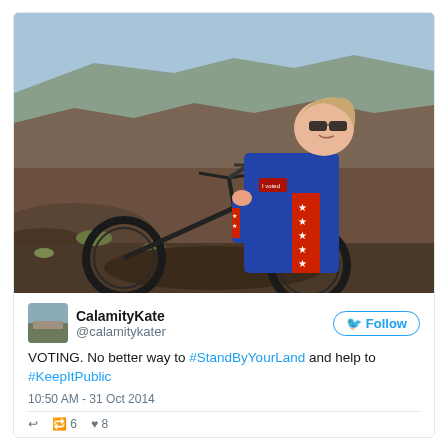[Figure (photo): A woman wearing a blue jumpsuit with red stripe and white stars, sitting on a mountain bike on a rocky desert landscape with mesas in the background. She has sunglasses on and is smiling. The jumpsuit has an 'I Voted' patch visible.]
CalamityKate @calamitykater
VOTING. No better way to #StandByYourLand and help to #KeepItPublic
10:50 AM - 31 Oct 2014